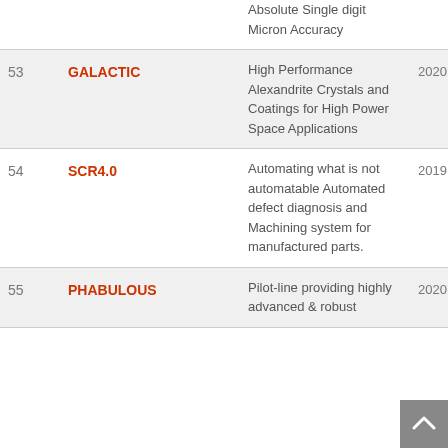| # | Name | Description | Year |
| --- | --- | --- | --- |
|  |  | Absolute Single digit Micron Accuracy |  |
| 53 | GALACTIC | High Performance Alexandrite Crystals and Coatings for High Power Space Applications | 2020 |
| 54 | SCR4.0 | Automating what is not automatable Automated defect diagnosis and Machining system for manufactured parts. | 2019 |
| 55 | PHABULOUS | Pilot-line providing highly advanced & robust | 2020 |